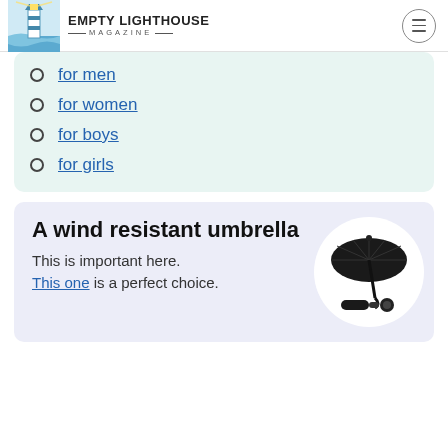Empty Lighthouse Magazine
for men
for women
for boys
for girls
A wind resistant umbrella
This is important here. This one is a perfect choice.
[Figure (photo): Black wind resistant umbrella, open and compact, shown on white circular background]